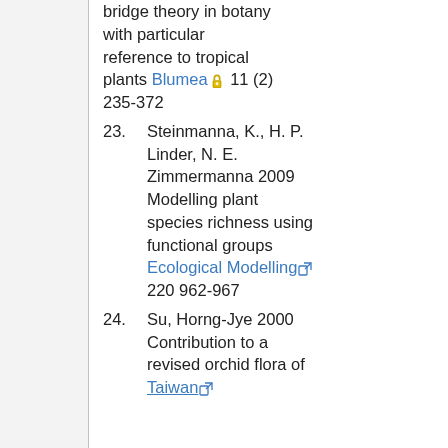bridge theory in botany with particular reference to tropical plants Blumea 11 (2) 235-372
23. Steinmanna, K., H. P. Linder, N. E. Zimmermanna 2009 Modelling plant species richness using functional groups Ecological Modelling 220 962-967
24. Su, Horng-Jye 2000 Contribution to a revised orchid flora of Taiwan